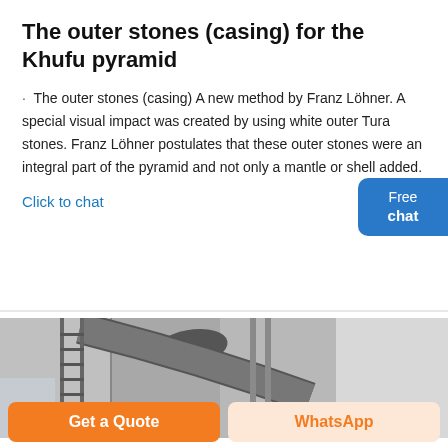The outer stones (casing) for the Khufu pyramid
The outer stones (casing) A new method by Franz Löhner. A special visual impact was created by using white outer Tura stones. Franz Löhner postulates that these outer stones were an integral part of the pyramid and not only a mantle or shell added.
Click to chat
[Figure (photo): Industrial interior photo showing large pipes and metal structure, black and white or grayscale.]
Get a Quote
WhatsApp